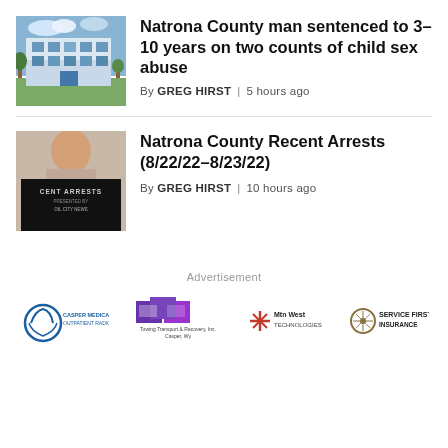Natrona County man sentenced to 3–10 years on two counts of child sex abuse
By GREG HIRST | 5 hours ago
Natrona County Recent Arrests (8/22/22–8/23/22)
By GREG HIRST | 10 hours ago
Advertisement
[Figure (logo): Casper Medical Imaging & Outpatient Radiology logo]
[Figure (logo): Towing Transport & Recovery Inc., Casper, WY logo]
[Figure (logo): Mtn West Technologies logo]
[Figure (logo): Service First Insurance logo]